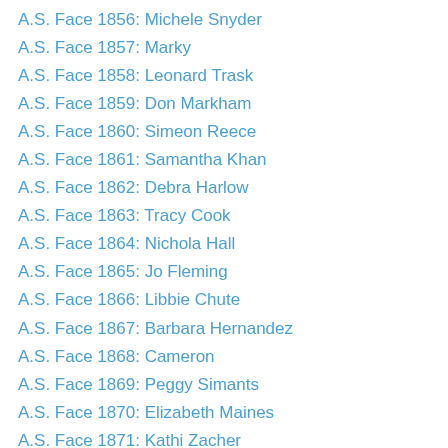A.S. Face 1856: Michele Snyder
A.S. Face 1857: Marky
A.S. Face 1858: Leonard Trask
A.S. Face 1859: Don Markham
A.S. Face 1860: Simeon Reece
A.S. Face 1861: Samantha Khan
A.S. Face 1862: Debra Harlow
A.S. Face 1863: Tracy Cook
A.S. Face 1864: Nichola Hall
A.S. Face 1865: Jo Fleming
A.S. Face 1866: Libbie Chute
A.S. Face 1867: Barbara Hernandez
A.S. Face 1868: Cameron
A.S. Face 1869: Peggy Simants
A.S. Face 1870: Elizabeth Maines
A.S. Face 1871: Kathi Zacher
A.S. Face 1872: Sarah Stiel
A.S. Face 1873: Stacie Robertson
A.S. Face 1874: Dianne (Aiello) Gardner
A.S. Face 1875: Chris Porfilio